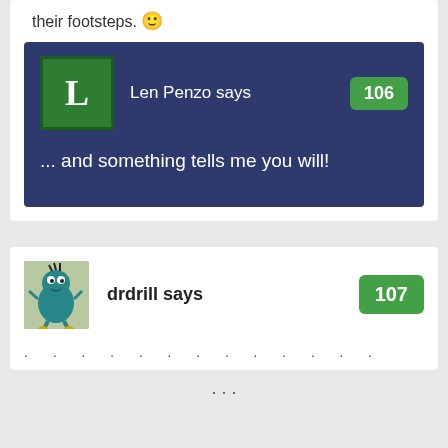their footsteps. 🙂
Len Penzo says
106
... and something tells me you will!
drdrill says
107
...